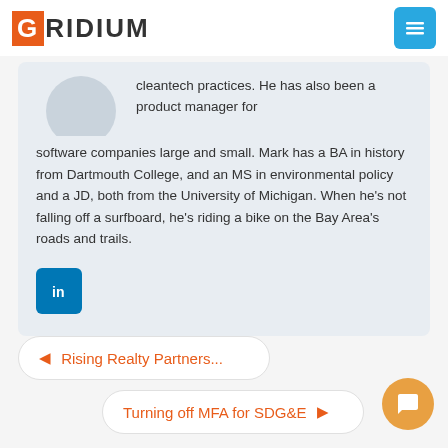Gridium
cleantech practices. He has also been a product manager for software companies large and small. Mark has a BA in history from Dartmouth College, and an MS in environmental policy and a JD, both from the University of Michigan. When he's not falling off a surfboard, he's riding a bike on the Bay Area's roads and trails.
[Figure (logo): LinkedIn icon button (blue square with 'in' logo)]
◄ Rising Realty Partners...
Turning off MFA for SDG&E ►